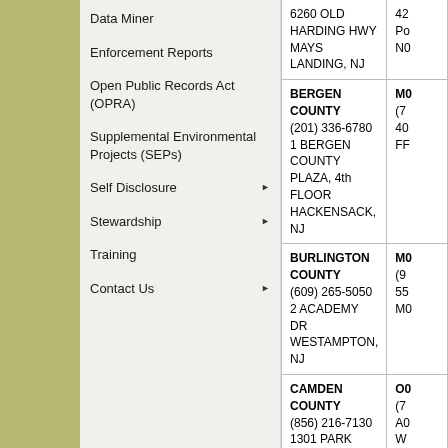Data Miner
Enforcement Reports
Open Public Records Act (OPRA)
Supplemental Environmental Projects (SEPs)
Self Disclosure
Stewardship
Training
Contact Us
| County/Contact | County/Contact (cont.) |
| --- | --- |
| 6260 OLD HARDING HWY
MAYS LANDING, NJ | 42...
Po...
N0... |
| BERGEN COUNTY
(201) 336-6780
1 BERGEN COUNTY PLAZA, 4th FLOOR
HACKENSACK, NJ | M0...
(7...
40...
FF... |
| BURLINGTON COUNTY
(609) 265-5050
2 ACADEMY DR
WESTAMPTON, NJ | M0...
(9...
55...
M0... |
| CAMDEN COUNTY
(856) 216-7130
1301 PARK BLVD.
CHERRY HILL, NJ | O0...
(7...
A0...
W...
T0... |
| CAPE MAY COUNTY
(609) 465-5115
355 COURT HOUSE - S DENNIS RD
CAPE MAY COURT HOUSE, NJ | PA...
(9...
13...
W... |
| CUMBERLAND COUNTY
(856) 451-2800
291 MORTON AVE
MILLVILLE, NJ | SA...
(8...
51...
W... |